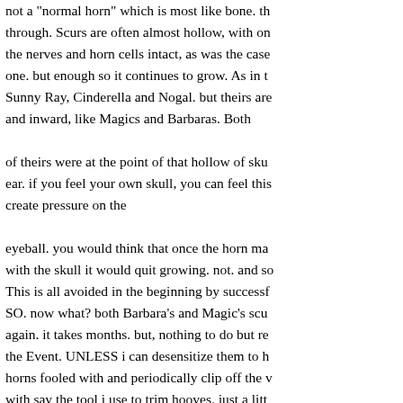not a "normal horn" which is most like bone. th through. Scurs are often almost hollow, with on the nerves and horn cells intact, as was the case one. but enough so it continues to grow. As in t Sunny Ray, Cinderella and Nogal. but theirs are and inward, like Magics and Barbaras. Both of theirs were at the point of that hollow of sku ear. if you feel your own skull, you can feel this create pressure on the eyeball. you would think that once the horn ma with the skull it would quit growing. not. and so This is all avoided in the beginning by successf SO. now what? both Barbara's and Magic's scu again. it takes months. but, nothing to do but re the Event. UNLESS i can desensitize them to h horns fooled with and periodically clip off the v with say the tool i use to trim hooves. just a litt a time. like an eight of an inch. a little, Often. If i were a person who has a Working Dairy He